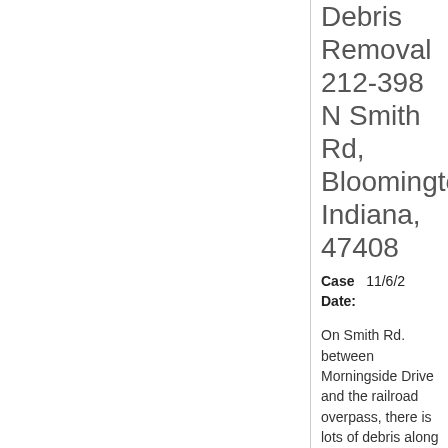Debris Removal 212-398 N Smith Rd, Bloomington, Indiana, 47408
Case Date: 11/6/2...
On Smith Rd. between Morningside Drive and the railroad overpass, there is lots of debris along the ...